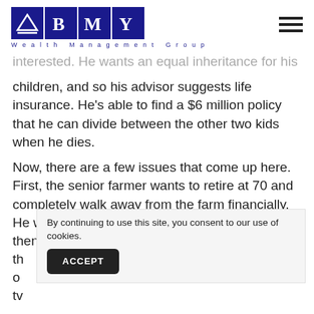BMY Wealth Management Group
interested. He wants an equal inheritance for his children, and so his advisor suggests life insurance. He's able to find a $6 million policy that he can divide between the other two kids when he dies.
Now, there are a few issues that come up here. First, the senior farmer wants to retire at 70 and completely walk away from the farm financially. He will need to pass the business on to his son then, and hopefully th... o o tv
By continuing to use this site, you consent to our use of cookies. ACCEPT